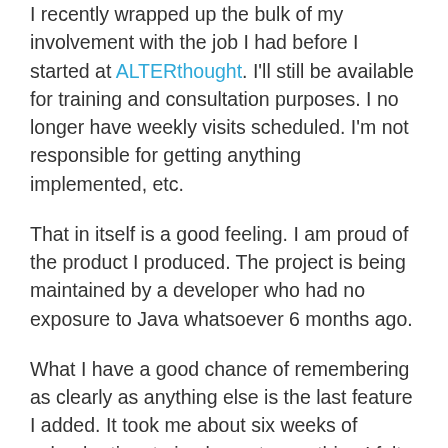I recently wrapped up the bulk of my involvement with the job I had before I started at ALTERthought. I'll still be available for training and consultation purposes. I no longer have weekly visits scheduled. I'm not responsible for getting anything implemented, etc.
That in itself is a good feeling. I am proud of the product I produced. The project is being maintained by a developer who had no exposure to Java whatsoever 6 months ago.
What I have a good chance of remembering as clearly as anything else is the last feature I added. It took me about six weeks of calendar time to implement something I felt that I could have done with Rails in about two days. To be clear, there were false starts, and I only got to work on the project for a couple of